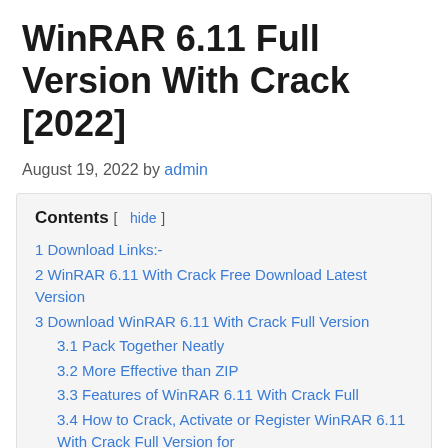WinRAR 6.11 Full Version With Crack [2022]
August 19, 2022 by admin
| Contents [ hide ] |
| 1 Download Links:- |
| 2 WinRAR 6.11 With Crack Free Download Latest Version |
| 3 Download WinRAR 6.11 With Crack Full Version |
| 3.1 Pack Together Neatly |
| 3.2 More Effective than ZIP |
| 3.3 Features of WinRAR 6.11 With Crack Full |
| 3.4 How to Crack, Activate or Register WinRAR 6.11 With Crack Full Version for |